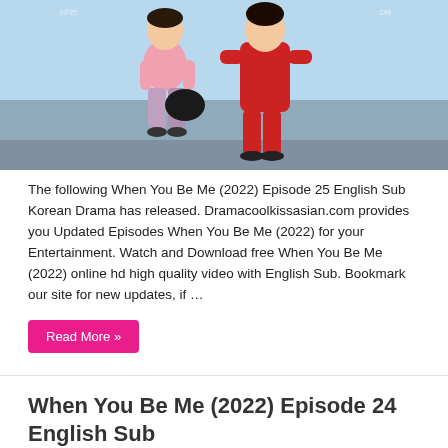[Figure (photo): Promotional image showing two young people in colorful outfits (one in pink, one in red) sitting together against a light blue sky background, likely a Korean drama promotional photo.]
The following When You Be Me (2022) Episode 25 English Sub Korean Drama has released. Dramacoolkissasian.com provides you Updated Episodes When You Be Me (2022) for your Entertainment. Watch and Download free When You Be Me (2022) online hd high quality video with English Sub. Bookmark our site for new updates, if …
Read More »
When You Be Me (2022) Episode 24 English Sub
May 22, 2022  When You Be Me (2022)  0